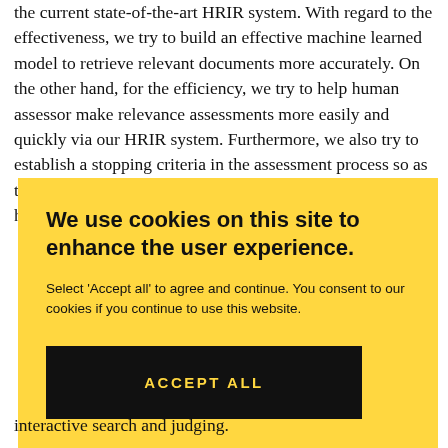the current state-of-the-art HRIR system. With regard to the effectiveness, we try to build an effective machine learned model to retrieve relevant documents more accurately. On the other hand, for the efficiency, we try to help human assessor make relevance assessments more easily and quickly via our HRIR system. Furthermore, we also try to establish a stopping criteria in the assessment process so as to avoid excessive assessments. In particular, we hypothesize that the total assessment effort to
[Figure (screenshot): Cookie consent overlay banner with yellow background. Title: 'We use cookies on this site to enhance the user experience.' Body text: 'Select 'Accept all' to agree and continue. You consent to our cookies if you continue to use this website.' Black button with yellow text: 'ACCEPT ALL']
interactive search and judging.